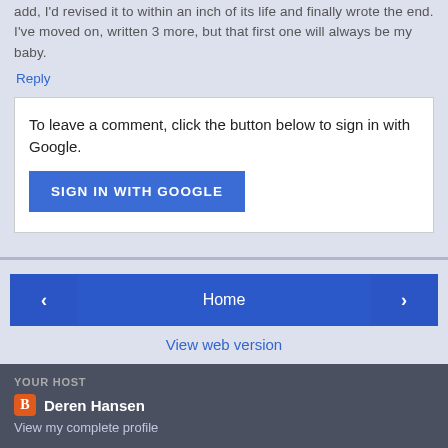add, I'd revised it to within an inch of its life and finally wrote the end. I've moved on, written 3 more, but that first one will always be my baby.
Reply
To leave a comment, click the button below to sign in with Google.
SIGN IN WITH GOOGLE
Home
View web version
YOUR HOST
Deren Hansen
View my complete profile
Powered by Blogger.